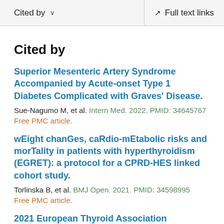Cited by   ∨   Full text links
Cited by
Superior Mesenteric Artery Syndrome Accompanied by Acute-onset Type 1 Diabetes Complicated with Graves' Disease.
Sue-Nagumo M, et al. Intern Med. 2022. PMID: 34645767
Free PMC article.
wEight chanGes, caRdio-mEtabolic risks and morTality in patients with hyperthyroidism (EGRET): a protocol for a CPRD-HES linked cohort study.
Torlinska B, et al. BMJ Open. 2021. PMID: 34598995
Free PMC article.
2021 European Thyroid Association Guidelines for the Management of Iodine-Based Contrast Media-